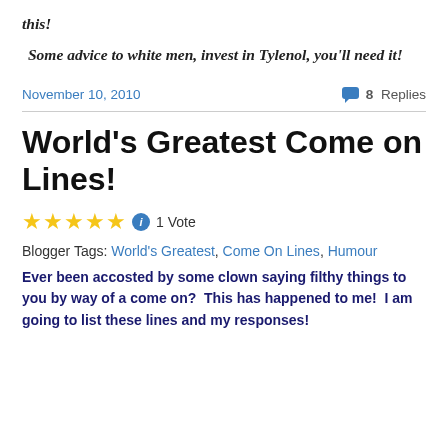this!
Some advice to white men, invest in Tylenol, you'll need it!
November 10, 2010    💬 8 Replies
World's Greatest Come on Lines!
★★★★★ ⓘ 1 Vote
Blogger Tags: World's Greatest, Come On Lines, Humour
Ever been accosted by some clown saying filthy things to you by way of a come on?  This has happened to me!  I am going to list these lines and my responses!